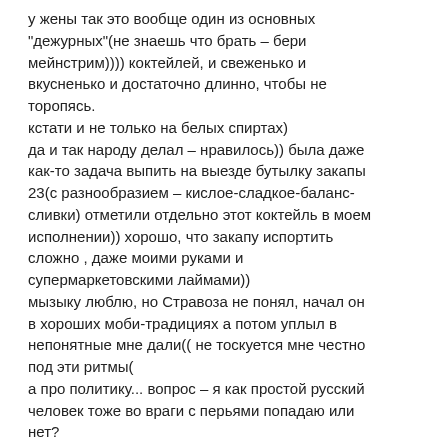у жены так это вообще один из основных "дежурных"(не знаешь что брать – бери мейнстрим)))) коктейлей, и свеженько и вкусненько и достаточно длинно, чтобы не торопясь.
кстати и не только на белых спиртах)
да и так народу делал – нравилось)) была даже как-то задача выпить на выезде бутылку закапы 23(с разнообразием – кислое-сладкое-баланс-сливки) отметили отдельно этот коктейль в моем исполнении)) хорошо, что закапу испортить сложно , даже моими руками и супермаркетовскими лаймами))
мызыку люблю, но Стравоза не понял, начал он в хороших моби-традициях а потом уплыл в непонятные мне дали(( не тоскуется мне честно под эти ритмы(
а про политику... вопрос – я как простой русский человек тоже во враги с перьями попадаю или нет?